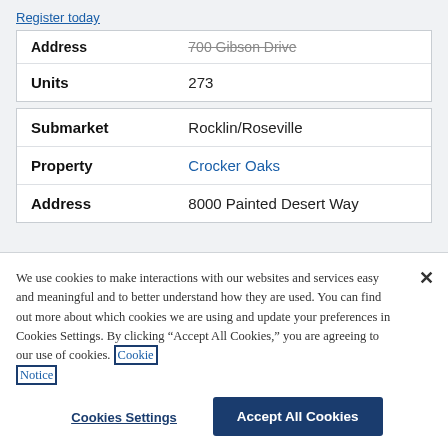Register today
| Address | 700 Gibson Drive |
| --- | --- |
| Units | 273 |
| Submarket | Rocklin/Roseville |
| Property | Crocker Oaks |
| Address | 8000 Painted Desert Way |
We use cookies to make interactions with our websites and services easy and meaningful and to better understand how they are used. You can find out more about which cookies we are using and update your preferences in Cookies Settings. By clicking “Accept All Cookies,” you are agreeing to our use of cookies. Cookie Notice
Cookies Settings
Accept All Cookies